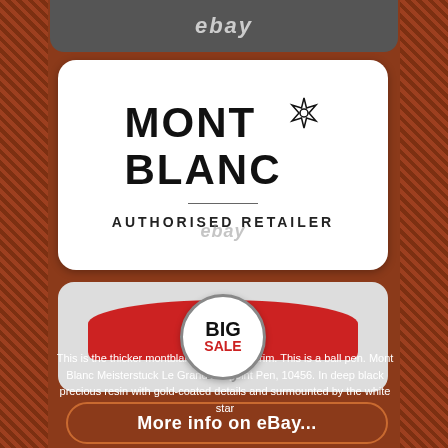[Figure (screenshot): eBay top gray bar with 'ebay' text in italic]
[Figure (logo): Montblanc Authorised Retailer card with Mont Blanc logo and snowflake star, divider line, and text 'AUTHORISED RETAILER']
[Figure (infographic): Big Sale badge on red curved bar over gray card background with eBay watermark]
More info on eBay...
This is the thicker montblanc pen in gold trim. This is a ball pen. Mont Blanc Meisterstuck Le Grand Ballpoint Pen, 10456. In deep black precious resin with gold-coated details and surmounted by the white star